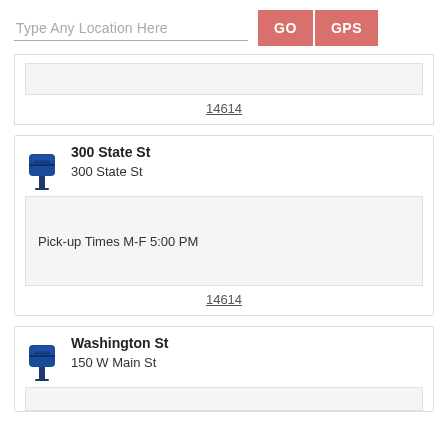Type Any Location Here
GO
GPS
14614
300 State St
300 State St
Pick-up Times M-F 5:00 PM
14614
Washington St
150 W Main St